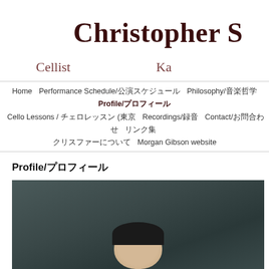Christopher S
Cellist   Ka
Home   Performance Schedule/公演スケジュール   Philosophy/音楽哲学   Profile/プロフィール   Cello Lessons / チェロレッスン (東京   Recordings/録音   Contact/お問合わせ   リンク集   クリスファーについて   Morgan Gibson website
Profile/プロフィール
[Figure (photo): Portrait photo of Christopher S, a cellist, shown from shoulders up against a dark grey gradient background. The subject has dark hair.]